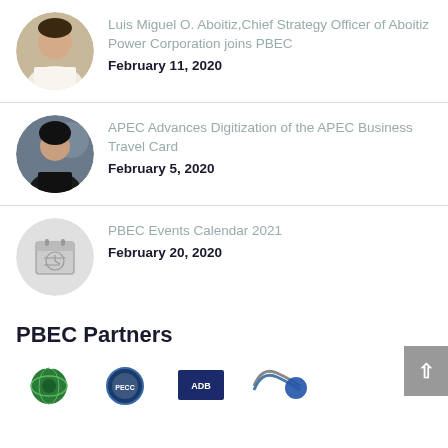[Figure (photo): Circular photo of Luis Miguel O. Aboitiz, a man in white barong]
Luis Miguel O. Aboitiz,Chief Strategy Officer of Aboitiz Power Corporation joins PBEC
February 11, 2020
[Figure (photo): Circular photo of a woman in a dark jacket]
APEC Advances Digitization of the APEC Business Travel Card
February 5, 2020
[Figure (illustration): Circular light gray placeholder with calendar icon]
PBEC Events Calendar 2021
February 20, 2020
PBEC Partners
[Figure (logo): APEC logo - circular green/blue globe design]
[Figure (logo): PECC logo - circular blue design]
[Figure (logo): ADB logo - dark blue square]
[Figure (logo): OECD logo - stylized wave/bracket design in gray/blue]